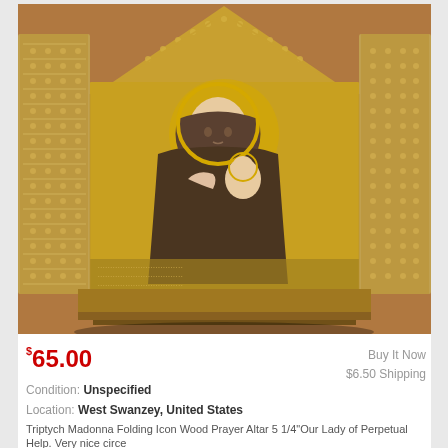[Figure (photo): Photograph of a Triptych Madonna Folding Icon Wood Prayer Altar with filigree metal frame, showing Our Lady of Perpetual Help icon in the center, gold-toned metalwork panels open on sides, on a brown background.]
$65.00
Buy It Now
$6.50 Shipping
Condition: Unspecified
Location: West Swanzey, United States
Triptych Madonna Folding Icon Wood Prayer Altar 5 1/4"Our Lady of Perpetual Help. Very nice circe